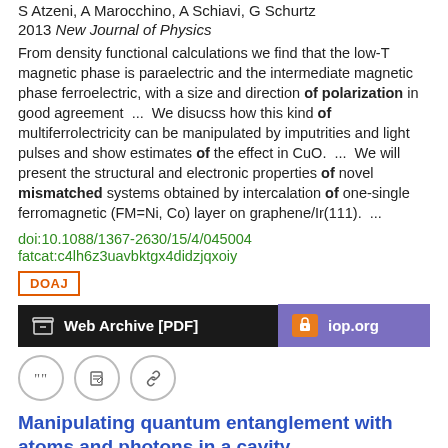S Atzeni, A Marocchino, A Schiavi, G Schurtz
2013 New Journal of Physics
From density functional calculations we find that the low-T magnetic phase is paraelectric and the intermediate magnetic phase ferroelectric, with a size and direction of polarization in good agreement  ...  We disucss how this kind of multiferrolectricity can be manipulated by imputrities and light pulses and show estimates of the effect in CuO.  ...  We will present the structural and electronic properties of novel mismatched systems obtained by intercalation of one-single ferromagnetic (FM=Ni, Co) layer on graphene/Ir(111).  ...
doi:10.1088/1367-2630/15/4/045004
fatcat:c4lh6z3uavbktgx4didzjqxoiy
DOAJ
Web Archive [PDF]
iop.org
Manipulating quantum entanglement with atoms and photons in a cavity
J M Raimond, M Brune, S Haroche